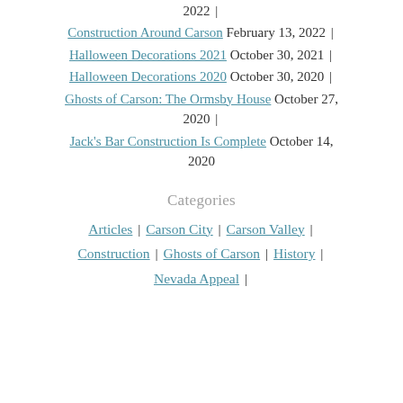2022 |
Construction Around Carson February 13, 2022 |
Halloween Decorations 2021 October 30, 2021 |
Halloween Decorations 2020 October 30, 2020 |
Ghosts of Carson: The Ormsby House October 27, 2020 |
Jack's Bar Construction Is Complete October 14, 2020
Categories
Articles | Carson City | Carson Valley |
Construction | Ghosts of Carson | History |
Nevada Appeal |